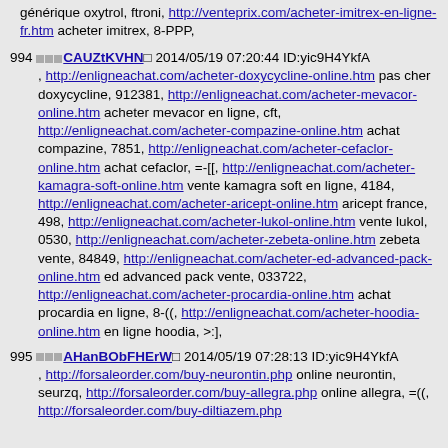générique oxytrol, ftroni, http://venteprix.com/acheter-imitrex-en-ligne-fr.htm acheter imitrex, 8-PPP,
994 □□□ CAUZtKVHN □ 2014/05/19 07:20:44 ID:yic9H4YkfA , http://enligneachat.com/acheter-doxycycline-online.htm pas cher doxycycline, 912381, http://enligneachat.com/acheter-mevacor-online.htm acheter mevacor en ligne, cft, http://enligneachat.com/acheter-compazine-online.htm achat compazine, 7851, http://enligneachat.com/acheter-cefaclor-online.htm achat cefaclor, =−[[, http://enligneachat.com/acheter-kamagra-soft-online.htm vente kamagra soft en ligne, 4184, http://enligneachat.com/acheter-aricept-online.htm aricept france, 498, http://enligneachat.com/acheter-lukol-online.htm vente lukol, 0530, http://enligneachat.com/acheter-zebeta-online.htm zebeta vente, 84849, http://enligneachat.com/acheter-ed-advanced-pack-online.htm ed advanced pack vente, 033722, http://enligneachat.com/acheter-procardia-online.htm achat procardia en ligne, 8-((, http://enligneachat.com/acheter-hoodia-online.htm en ligne hoodia, >:],
995 □□□ AHanBObFHErW □ 2014/05/19 07:28:13 ID:yic9H4YkfA , http://forsaleorder.com/buy-neurontin.php online neurontin, seurzq, http://forsaleorder.com/buy-allegra.php online allegra, =((, http://forsaleorder.com/buy-diltiazem.php